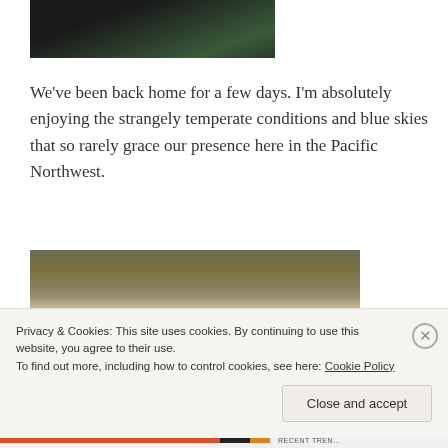[Figure (photo): Partial photo at top showing dark jacket/clothing with green fabric visible]
We've been back home for a few days. I'm absolutely enjoying the strangely temperate conditions and blue skies that so rarely grace our presence here in the Pacific Northwest.
[Figure (photo): Photo of a stone wall or retaining wall made of layered flat stones, with gravel and greenery visible. Feet/shoes visible at bottom center.]
Privacy & Cookies: This site uses cookies. By continuing to use this website, you agree to their use.
To find out more, including how to control cookies, see here: Cookie Policy
Close and accept